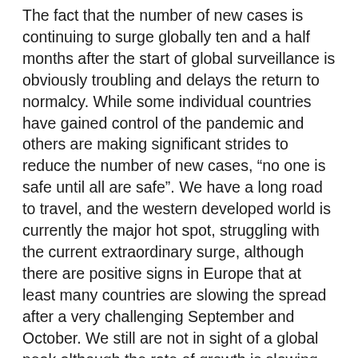The fact that the number of new cases is continuing to surge globally ten and a half months after the start of global surveillance is obviously troubling and delays the return to normalcy. While some individual countries have gained control of the pandemic and others are making significant strides to reduce the number of new cases, “no one is safe until all are safe”. We have a long road to travel, and the western developed world is currently the major hot spot, struggling with the current extraordinary surge, although there are positive signs in Europe that at least many countries are slowing the spread after a very challenging September and October. We still are not in sight of a global peak although the rate of growth is slowing for the world as a whole though not for countries like the United States.
There is obviously some light at the end of the tunnel as vaccines and therapeutics get closer to public release. With more than 55 million infections recorded to date